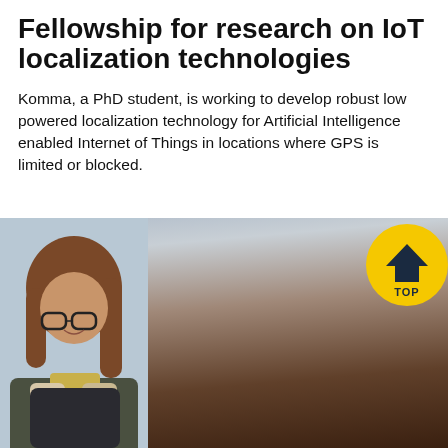Fellowship for research on IoT localization technologies
Komma, a PhD student, is working to develop robust low powered localization technology for Artificial Intelligence enabled Internet of Things in locations where GPS is limited or blocked.
[Figure (photo): Three portrait photos of young women researchers shown side by side, with a yellow TOP badge overlaid on the top-right corner.]